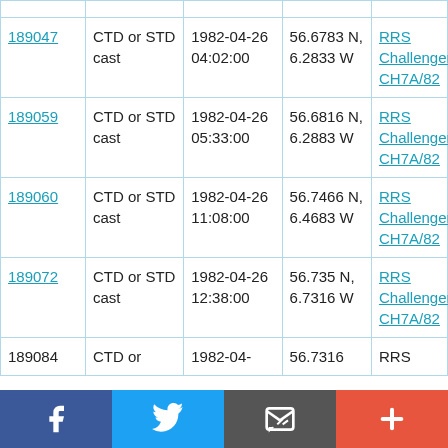| ID | Type | Date/Time | Coordinates | Vessel |
| --- | --- | --- | --- | --- |
| 189047 | CTD or STD cast | 1982-04-26 04:02:00 | 56.6783 N, 6.2833 W | RRS Challenger CH7A/82 |
| 189059 | CTD or STD cast | 1982-04-26 05:33:00 | 56.6816 N, 6.2883 W | RRS Challenger CH7A/82 |
| 189060 | CTD or STD cast | 1982-04-26 11:08:00 | 56.7466 N, 6.4683 W | RRS Challenger CH7A/82 |
| 189072 | CTD or STD cast | 1982-04-26 12:38:00 | 56.735 N, 6.7316 W | RRS Challenger CH7A/82 |
| 189084 | CTD or ... | 1982-04-... | 56.7316 | RRS |
Social sharing bar: Facebook, Twitter, Email, Plus